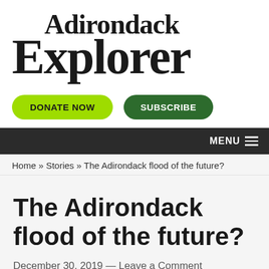Adirondack Explorer
[Figure (logo): Adirondack Explorer logo in serif bold font]
[Figure (other): Two buttons: DONATE NOW (bright green) and SUBSCRIBE (dark green)]
MENU
Home » Stories » The Adirondack flood of the future?
The Adirondack flood of the future?
December 30, 2019 — Leave a Comment